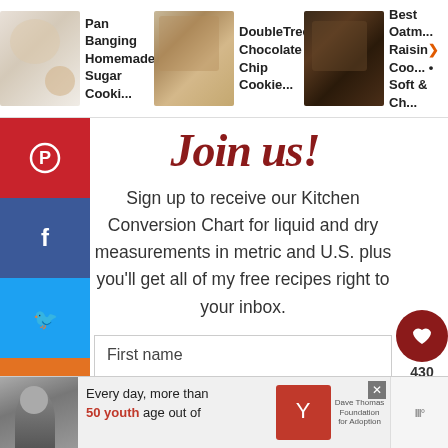[Figure (screenshot): Top navigation bar with three cookie recipe thumbnails: 'Pan Banging Homemade Sugar Cooki...', 'DoubleTree Chocolate Chip Cookie...', and 'Best Oatm... Raisin>Coo... • Soft & Ch...']
[Figure (screenshot): Social media sidebar buttons: Pinterest (red), Facebook (dark blue), Twitter (light blue), Yummly (orange)]
Join us!
Sign up to receive our Kitchen Conversion Chart for liquid and dry measurements in metric and U.S. plus you'll get all of my free recipes right to your inbox.
First name
Email address
Subscribe
[Figure (screenshot): Advertisement banner: photo of woman, text 'Every day, more than 50 youth age out of', Dave Thomas Foundation for Adoption logo, close button, and brand logo]
[Figure (screenshot): Right floating buttons: heart/save button with count 430, and share button]